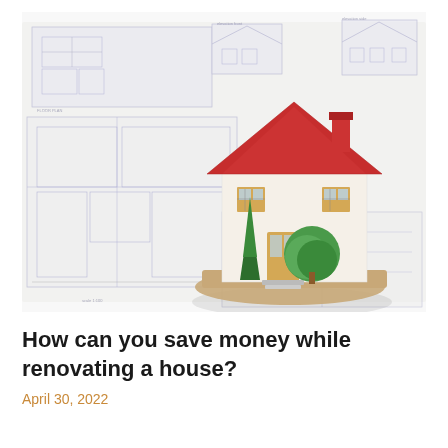[Figure (photo): A miniature house model with red roof, white walls, and small decorative trees placed on top of architectural blueprint floor plans spread out on a white surface.]
How can you save money while renovating a house?
April 30, 2022